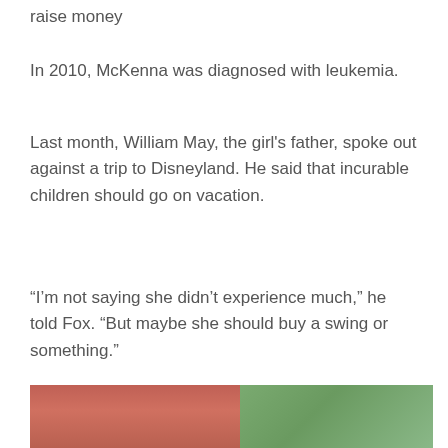raise money
In 2010, McKenna was diagnosed with leukemia.
Last month, William May, the girl's father, spoke out against a trip to Disneyland. He said that incurable children should go on vacation.
“I’m not saying she didn’t experience much,” he told Fox. “But maybe she should buy a swing or something.”
[Figure (photo): A person wearing a red shirt holding a child with light hair, with greenery visible in the background outdoors.]